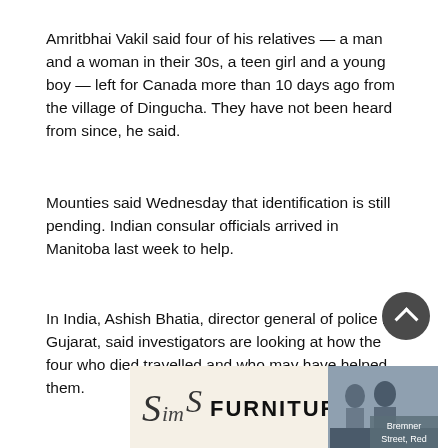Amritbhai Vakil said four of his relatives — a man and a woman in their 30s, a teen girl and a young boy — left for Canada more than 10 days ago from the village of Dingucha. They have not been heard from since, he said.
Mounties said Wednesday that identification is still pending. Indian consular officials arrived in Manitoba last week to help.
In India, Ashish Bhatia, director general of police in Gujarat, said investigators are looking at how the four who died travelled and who may have helped them.
[Figure (other): Advertisement banner for Sims Furniture showing logo with cursive Sims text, FURNITURE in bold capitals, and a photo of two people on a couch with overlay text 'Bremner Street, Red']